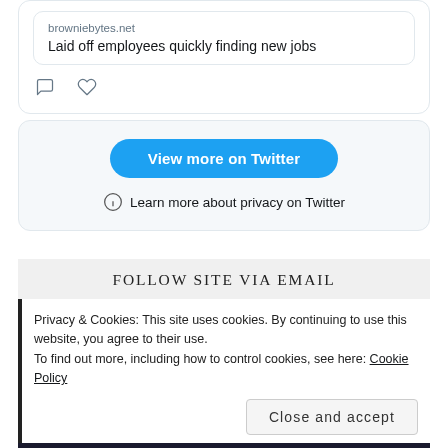[Figure (screenshot): Twitter embedded tweet card showing a link preview with domain 'browniebytes.net' and title 'Laid off employees quickly finding new jobs', with comment and like icons below]
[Figure (screenshot): Twitter embedded widget section with 'View more on Twitter' blue button and 'Learn more about privacy on Twitter' link with info icon]
FOLLOW SITE VIA EMAIL
Privacy & Cookies: This site uses cookies. By continuing to use this website, you agree to their use.
To find out more, including how to control cookies, see here: Cookie Policy
Close and accept